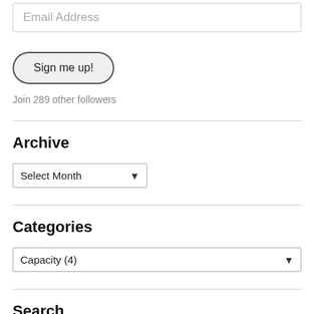Email Address
Sign me up!
Join 289 other followers
Archive
Select Month
Categories
Capacity  (4)
Search
Search